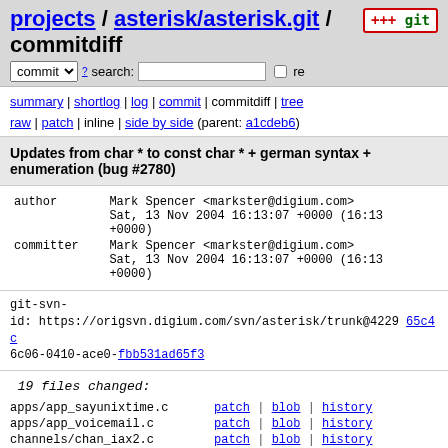projects / asterisk/asterisk.git / commitdiff
commit ? search: re
summary | shortlog | log | commit | commitdiff | tree raw | patch | inline | side by side (parent: a1cdeb6)
Updates from char * to const char * + german syntax + enumeration (bug #2780)
| field | value |
| --- | --- |
| author | Mark Spencer <markster@digium.com>
Sat, 13 Nov 2004 16:13:07 +0000 (16:13 +0000) |
| committer | Mark Spencer <markster@digium.com>
Sat, 13 Nov 2004 16:13:07 +0000 (16:13 +0000) |
git-svn-id: https://origsvn.digium.com/svn/asterisk/trunk@4229 65c4c 6c06-0410-ace0-fbb531ad65f3
19 files changed:
apps/app_sayunixtime.c   patch | blob | history
apps/app_voicemail.c   patch | blob | history
channels/chan_iax2.c   patch | blob | history
file.c   patch | blob | history